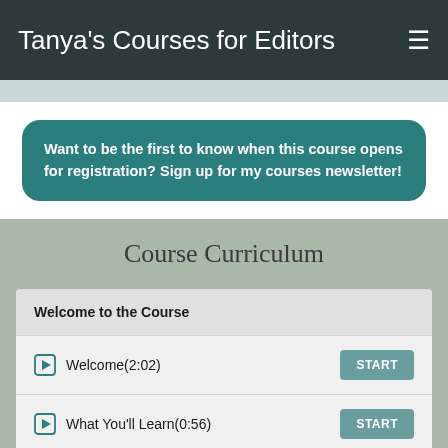Tanya's Courses for Editors
Want to be the first to know when this course opens for registration? Sign up for my courses newsletter!
Course Curriculum
Welcome to the Course
Welcome(2:02) START
What You'll Learn(0:56) START